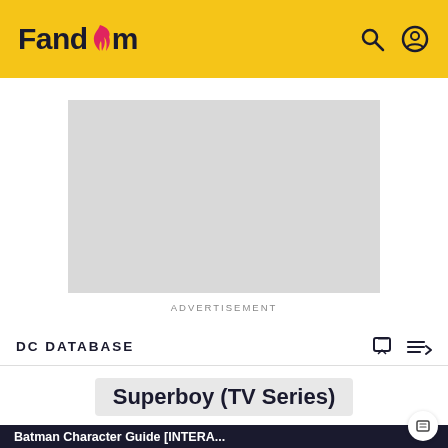Fandom
[Figure (other): Advertisement placeholder (gray rectangle)]
ADVERTISEMENT
DC DATABASE
Superboy (TV Series)
[Figure (screenshot): Dark screenshot with Batman Character Guide [INTERA... text overlay and a Batman logo graphic]